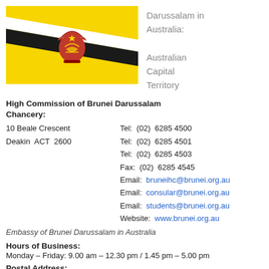[Figure (illustration): Flag of Brunei Darussalam — yellow background with diagonal black and white stripes and a red crest in the center]
Darussalam in Australia: Australian Capital Territory
High Commission of Brunei Darussalam Chancery:
10 Beale Crescent
Deakin  ACT  2600

Tel:  (02)  6285 4500
Tel:  (02)  6285 4501
Tel:  (02)  6285 4503
Fax:  (02)  6285 4545
Email:  bruneihc@brunei.org.au
Email:  consular@brunei.org.au
Email:  students@brunei.org.au
Website:  www.brunei.org.au
Embassy of Brunei Darussalam in Australia
Hours of Business:
Monday – Friday: 9.00 am – 12.30 pm / 1.45 pm – 5.00 pm
Postal Address: